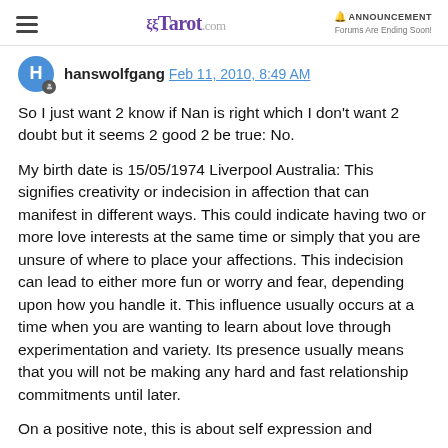≡  Tarot.com  🔔 ANNOUNCEMENT  Forums Are Ending Soon!
hanswolfgang Feb 11, 2010, 8:49 AM
So I just want 2 know if Nan is right which I don't want 2 doubt but it seems 2 good 2 be true: No.
My birth date is 15/05/1974 Liverpool Australia: This signifies creativity or indecision in affection that can manifest in different ways. This could indicate having two or more love interests at the same time or simply that you are unsure of where to place your affections. This indecision can lead to either more fun or worry and fear, depending upon how you handle it. This influence usually occurs at a time when you are wanting to learn about love through experimentation and variety. Its presence usually means that you will not be making any hard and fast relationship commitments until later.
On a positive note, this is about self expression and